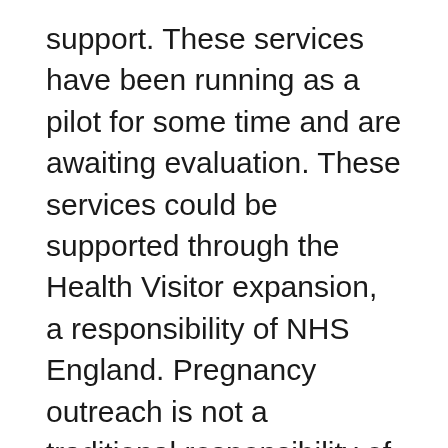support. These services have been running as a pilot for some time and are awaiting evaluation. These services could be supported through the Health Visitor expansion, a responsibility of NHS England. Pregnancy outreach is not a traditional responsibility of the local authority. The cessation of these services will affect the most disadvantaged communities.
Question: Unless the evaluation